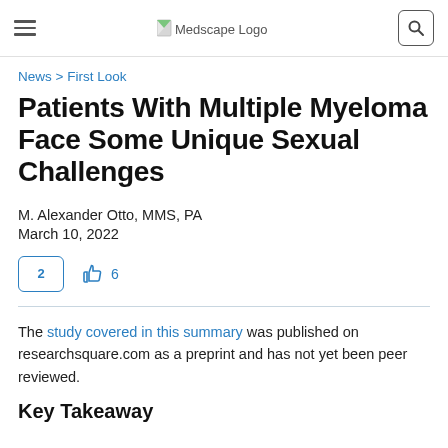Medscape Logo
News > First Look
Patients With Multiple Myeloma Face Some Unique Sexual Challenges
M. Alexander Otto, MMS, PA
March 10, 2022
2 comments, 6 likes
The study covered in this summary was published on researchsquare.com as a preprint and has not yet been peer reviewed.
Key Takeaway